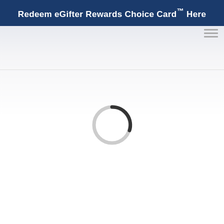Redeem eGifter Rewards Choice Card™ Here
[Figure (other): Hamburger menu icon — three horizontal gray lines stacked vertically, positioned in the upper-right area of the page]
[Figure (other): Loading spinner — a circular ring in light gray with a small dark gray arc segment at the top-right, indicating a page loading state]